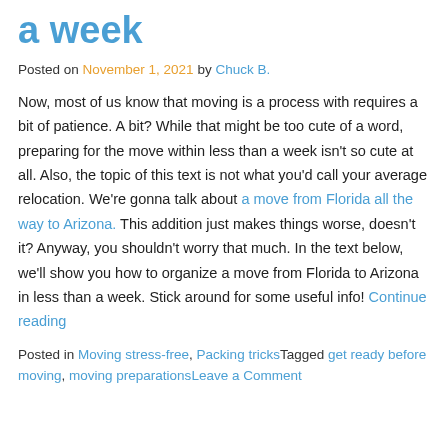a week
Posted on November 1, 2021 by Chuck B.
Now, most of us know that moving is a process with requires a bit of patience. A bit? While that might be too cute of a word, preparing for the move within less than a week isn't so cute at all. Also, the topic of this text is not what you'd call your average relocation. We're gonna talk about a move from Florida all the way to Arizona. This addition just makes things worse, doesn't it? Anyway, you shouldn't worry that much. In the text below, we'll show you how to organize a move from Florida to Arizona in less than a week. Stick around for some useful info! Continue reading
Posted in Moving stress-free, Packing tricksTagged get ready before moving, moving preparationsLeave a Comment